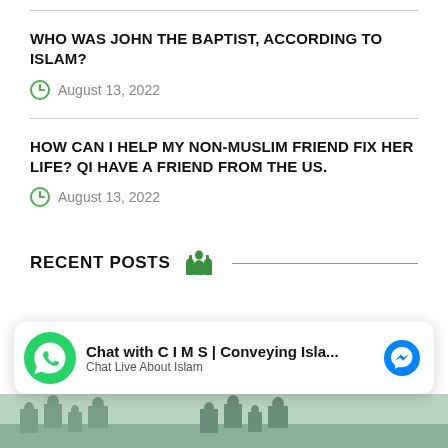WHO WAS JOHN THE BAPTIST, ACCORDING TO ISLAM?
August 13, 2022
HOW CAN I HELP MY NON-MUSLIM FRIEND FIX HER LIFE? QI HAVE A FRIEND FROM THE US.
August 13, 2022
RECENT POSTS
Chat with C I M S | Conveying Isla... Chat Live About Islam